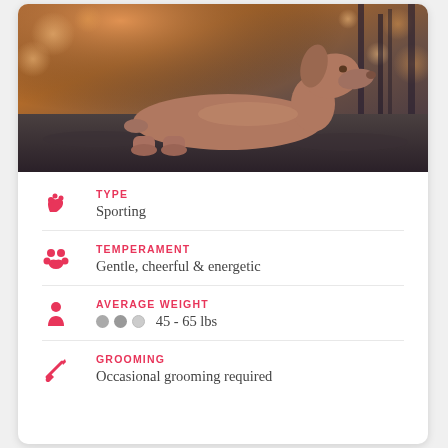[Figure (photo): A Weimaraner dog lying down on a rocky/leafy surface in an outdoor forest setting with warm golden bokeh background light.]
TYPE
Sporting
TEMPERAMENT
Gentle, cheerful & energetic
AVERAGE WEIGHT
45 - 65 lbs
GROOMING
Occasional grooming required